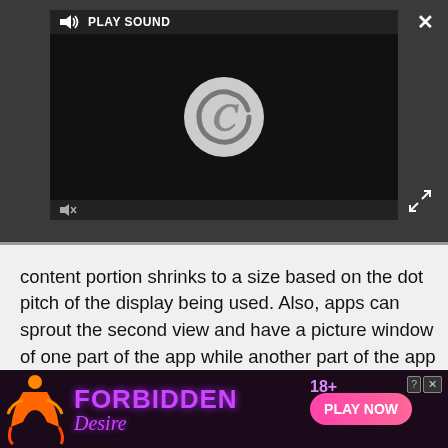[Figure (screenshot): Video media player with PLAY SOUND button at top, loading spinner (grey circle with C) in center on black background, mute icon at bottom left, close X button top right, expand arrows bottom right]
content portion shrinks to a size based on the dot pitch of the display being used. Also, apps can sprout the second view and have a picture window of one part of the app while another part of the app is in full-screen mode. The new API's support the new window view, and a developer can use it in their app without too much of a hassle. This is designed for Android TV and the people who built the actual hardware need to enable it. An app designed for picture-in-picture mode won't do anything if the user tries to put it in
[Figure (screenshot): Advertisement banner for 'Forbidden Desire' adult game. Black/dark purple background with stylized silhouette figure, purple neon text reading FORBIDDEN Desire with 18+ badge, pink PLAY NOW button, help and close buttons top right.]